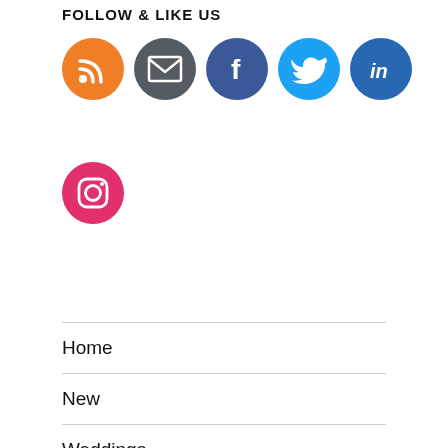FOLLOW & LIKE US
[Figure (illustration): Social media icons in a row: RSS (orange), Email (dark gray), Facebook (dark blue), Twitter (light blue), LinkedIn (blue). Second row: Instagram (red).]
Home
New
Weddings
Memorials
Children & pets
Order
Jewelry sets